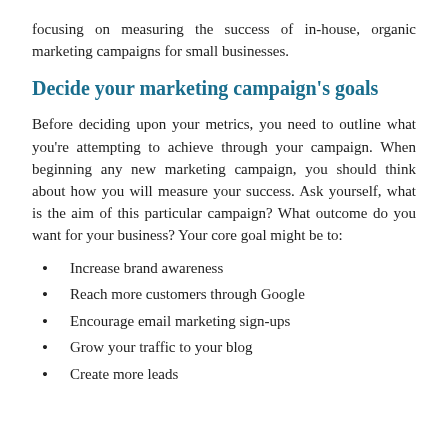focusing on measuring the success of in-house, organic marketing campaigns for small businesses.
Decide your marketing campaign's goals
Before deciding upon your metrics, you need to outline what you're attempting to achieve through your campaign. When beginning any new marketing campaign, you should think about how you will measure your success. Ask yourself, what is the aim of this particular campaign? What outcome do you want for your business? Your core goal might be to:
Increase brand awareness
Reach more customers through Google
Encourage email marketing sign-ups
Grow your traffic to your blog
Create more leads